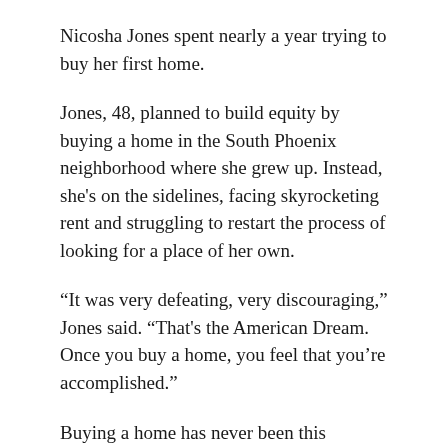Nicosha Jones spent nearly a year trying to buy her first home.
Jones, 48, planned to build equity by buying a home in the South Phoenix neighborhood where she grew up. Instead, she's on the sidelines, facing skyrocketing rent and struggling to restart the process of looking for a place of her own.
“It was very defeating, very discouraging,” Jones said. “That's the American Dream. Once you buy a home, you feel that you’re accomplished.”
Buying a home has never been this competitive or expensive for American families, with record high home prices and now skyrocketing mortgage rates, still well above 5%. The typical monthly mortgage payment for a purchased property is up more than 30% from a year ago, according to Freddie Mac.